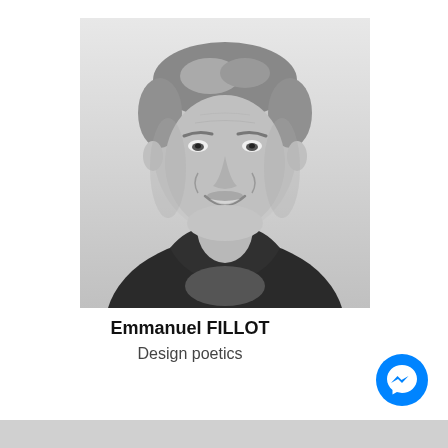[Figure (photo): Black and white headshot portrait of a middle-aged man with gray-streaked hair, smiling, wearing a dark collared shirt over a t-shirt, photographed against a light background.]
Emmanuel FILLOT
Design poetics
[Figure (logo): Facebook Messenger logo — white lightning bolt / chat bubble icon on a blue circular background.]